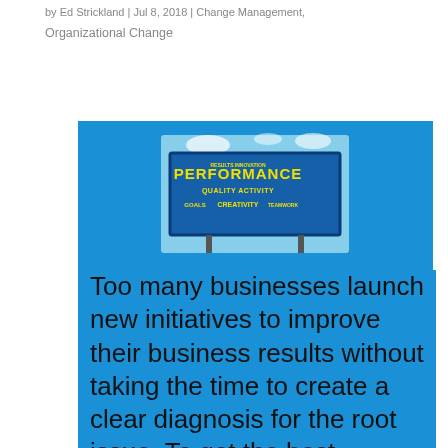by Ed Strickland | Jul 8, 2018 | Change Management, Organizational Change
[Figure (photo): Blue billboard sign with yellow word cloud including PERFORMANCE, QUALITY, ACTIVITY, CREATIVITY on a blue sky background, displayed within a larger blue rectangle background]
Too many businesses launch new initiatives to improve their business results without taking the time to create a clear diagnosis for the root issue. To get the best results, you